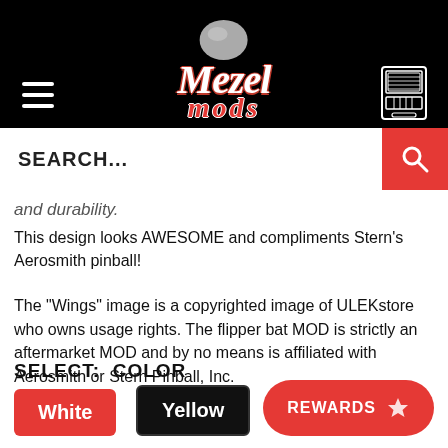Mezel Mods — navigation header with logo and search bar
and durability.
This design looks AWESOME and compliments Stern's Aerosmith pinball!
The "Wings" image is a copyrighted image of ULEKstore who owns usage rights. The flipper bat MOD is strictly an aftermarket MOD and by no means is affiliated with Aerosmith or Stern Pinball, Inc.
SELECT:  COLOR
White
Yellow